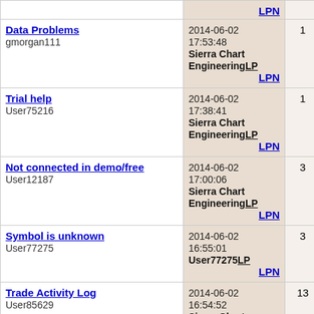| Topic | Last Post | Replies | Views |
| --- | --- | --- | --- |
| LPN |  |  |  |
| Data Problems
gmorgan111 | 2014-06-02 17:53:48
Sierra Chart Engineering
LP
LPN | 1 | 786 |
| Trial help
User75216 | 2014-06-02 17:38:41
Sierra Chart Engineering
LP
LPN | 1 | 794 |
| Not connected in demo/free
User12187 | 2014-06-02 17:00:06
Sierra Chart Engineering
LP
LPN | 3 | 762 |
| Symbol is unknown
User77275 | 2014-06-02 16:55:01
User77275
LP
LPN | 3 | 878 |
| Trade Activity Log
User85629 | 2014-06-02 16:54:52
Sierra Chart Engineering
LP
LPN | 13 | 953 |
|  | 2014-06-02 |  |  |